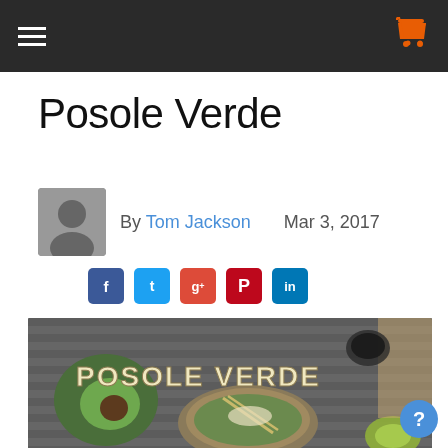Navigation bar with hamburger menu and shopping cart icon
Posole Verde
By Tom Jackson   Mar 3, 2017
[Figure (other): Social sharing buttons: Facebook, Twitter, Google+, Pinterest, LinkedIn]
[Figure (photo): Overhead photo of Posole Verde dish in a bowl with avocado, lime, and garnishes on a striped cloth, with text 'POSOLE VERDE' overlaid]